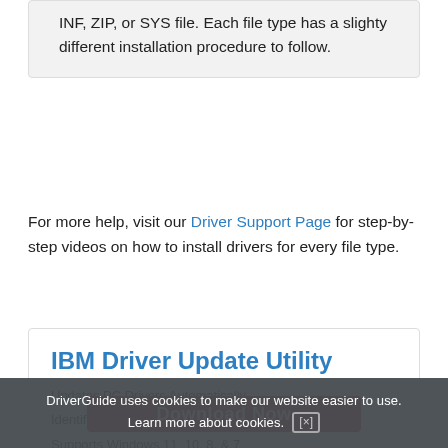INF, ZIP, or SYS file. Each file type has a slighty different installation procedure to follow.
For more help, visit our Driver Support Page for step-by-step videos on how to install drivers for every file type.
IBM Driver Update Utility
Updates PC Drivers Automatically
Identifies & Fixes Unknown Devices
Supports Windows 11, 10, 8, & 7
Download Now
DriverGuide uses cookies to make our website easier to use. Learn more about cookies. [x]